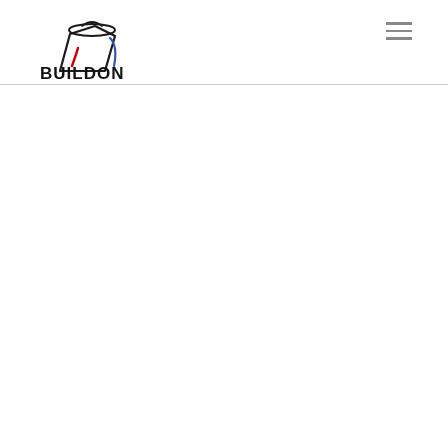BUILDON
[Figure (logo): BUILDON logo with a paint bucket icon in dark outline with red and blue accents, and bold text 'BUILDON' below it]